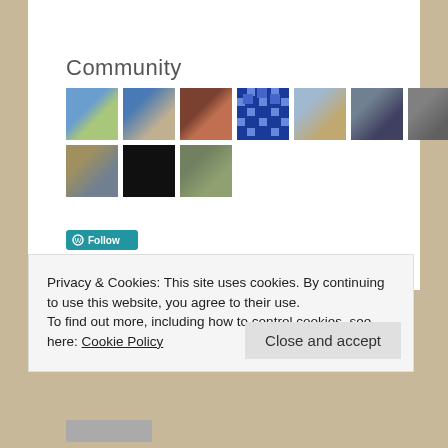Community
[Figure (photo): Grid of community member avatar photos — 10 small square profile images arranged in two rows]
Privacy & Cookies: This site uses cookies. By continuing to use this website, you agree to their use.
To find out more, including how to control cookies, see here: Cookie Policy
Close and accept